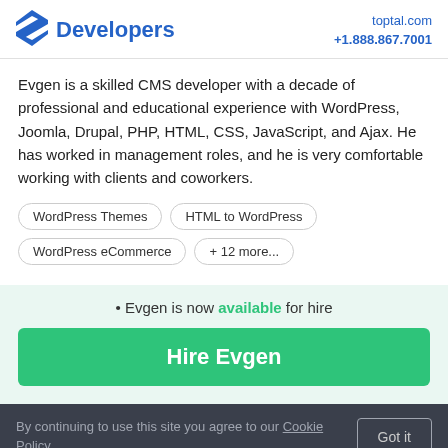Developers | toptal.com +1.888.867.7001
Evgen is a skilled CMS developer with a decade of professional and educational experience with WordPress, Joomla, Drupal, PHP, HTML, CSS, JavaScript, and Ajax. He has worked in management roles, and he is very comfortable working with clients and coworkers.
WordPress Themes
HTML to WordPress
WordPress eCommerce
+ 12 more...
• Evgen is now available for hire
Hire Evgen
By continuing to use this site you agree to our Cookie Policy. Got it